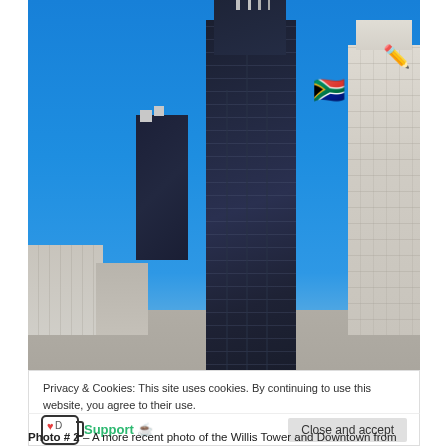[Figure (photo): Photograph of Willis Tower (formerly Sears Tower) and downtown Chicago skyline against a bright blue sky, with emoji overlays (South African flag and pencil emoji).]
Privacy & Cookies: This site uses cookies. By continuing to use this website, you agree to their use.
To find out more, including how to control cookies, see here: Cookie Policy
Support ☕
Close and accept
Photo # 2 – A more recent photo of the Willis Tower and Downtown from